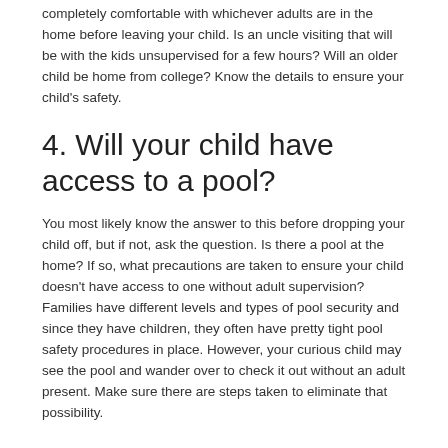completely comfortable with whichever adults are in the home before leaving your child. Is an uncle visiting that will be with the kids unsupervised for a few hours? Will an older child be home from college? Know the details to ensure your child's safety.
4. Will your child have access to a pool?
You most likely know the answer to this before dropping your child off, but if not, ask the question. Is there a pool at the home? If so, what precautions are taken to ensure your child doesn't have access to one without adult supervision? Families have different levels and types of pool security and since they have children, they often have pretty tight pool safety procedures in place. However, your curious child may see the pool and wander over to check it out without an adult present. Make sure there are steps taken to eliminate that possibility.